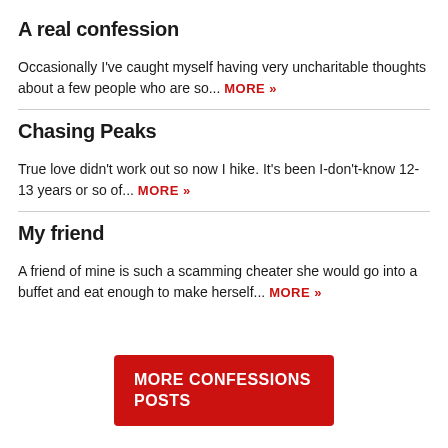A real confession
Occasionally I've caught myself having very uncharitable thoughts about a few people who are so... MORE »
Chasing Peaks
True love didn't work out so now I hike. It's been I-don't-know 12-13 years or so of... MORE »
My friend
A friend of mine is such a scamming cheater she would go into a buffet and eat enough to make herself... MORE »
MORE CONFESSIONS POSTS